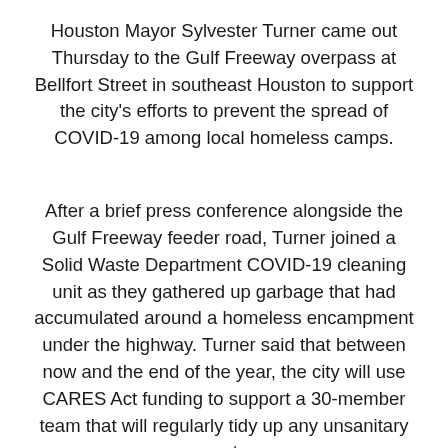Houston Mayor Sylvester Turner came out Thursday to the Gulf Freeway overpass at Bellfort Street in southeast Houston to support the city's efforts to prevent the spread of COVID-19 among local homeless camps.
After a brief press conference alongside the Gulf Freeway feeder road, Turner joined a Solid Waste Department COVID-19 cleaning unit as they gathered up garbage that had accumulated around a homeless encampment under the highway. Turner said that between now and the end of the year, the city will use CARES Act funding to support a 30-member team that will regularly tidy up any unsanitary waste